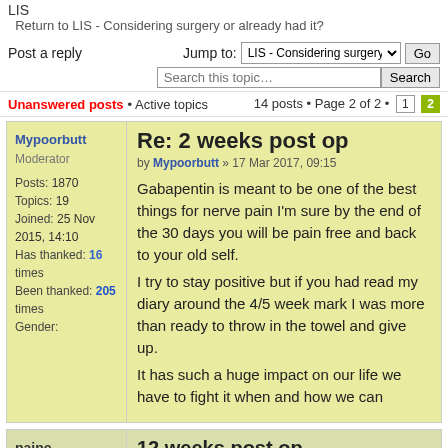LIS
Return to LIS - Considering surgery or already had it?
Post a reply   Jump to: LIS - Considering surgery or ▾  Go
Search this topic…  Search
Unanswered posts • Active topics    14 posts • Page 2 of 2 • 1 2
Mypoorbutt
Moderator
Posts: 1870
Topics: 19
Joined: 25 Nov 2015, 14:10
Has thanked: 16 times
Been thanked: 205 times
Gender:
Re: 2 weeks post op
by Mypoorbutt » 17 Mar 2017, 09:15
Gabapentin is meant to be one of the best things for nerve pain I'm sure by the end of the 30 days you will be pain free and back to your old self.
I try to stay positive but if you had read my diary around the 4/5 week mark I was more than ready to throw in the towel and give up.
It has such a huge impact on our life we have to fight it when and how we can
paine
Salt Bather
Posts: 92
Topics: 4
Joined: 30 Dec
12 weeks post op
by paine » 17 Apr 2017, 09:43
3 days short for 12 weeks post op - fissure recurrence on the same spot plus lis surgery